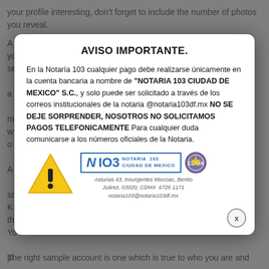your profile interesting, don't forget to include the number of photos you reveal.
A good going out with profile will draw the reader's awareness of your best features and help you form a connection. Put your self in the reader's perspective, and be as detailed as achievable. Include your interests and the things that make you content, but remember that the goal of a very good profile should be to attract a match, not to describe yourself in a way that may not be true. When writing your profile, be honest and creative.
AVISO IMPORTANTE.
En la Notaría 103 cualquier pago debe realizarse únicamente en la cuenta bancaria a nombre de "NOTARIA 103 CIUDAD DE MEXICO" S.C., y solo puede ser solicitado a través de los correos institucionales de la notaria @notaria103df.mx NO SE DEJE SORPRENDER, NOSOTROS NO SOLICITAMOS PAGOS TELEFONICAMENTE Para cualquier duda comunicarse a los números oficiales de la Notaria.
[Figure (illustration): Warning triangle icon — yellow triangle with black exclamation mark]
[Figure (logo): Notaria 103 Ciudad de Mexico logo with official seal]
Asturias 43, Insurgentes Mixcoac, Benito Juárez, 03920, CDMX  6726 1171
notaria103@notaria103df.mx
The right sample account is one which is true to who you are and